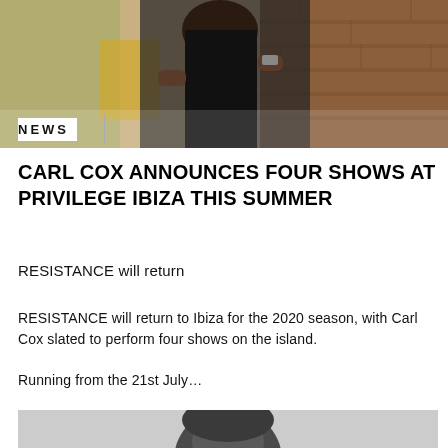[Figure (photo): Person standing against brick wall background, wearing black outfit with a watch, hands on hips, upper body cropped photo]
NEWS
CARL COX ANNOUNCES FOUR SHOWS AT PRIVILEGE IBIZA THIS SUMMER
RESISTANCE will return
RESISTANCE will return to Ibiza for the 2020 season, with Carl Cox slated to perform four shows on the island.
Running from the 21st July...
[Figure (photo): Black and white close-up photo of bald man wearing sunglasses, head and shoulders visible]